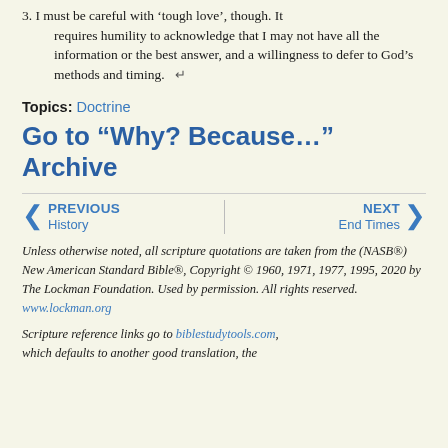3. I must be careful with 'tough love', though. It requires humility to acknowledge that I may not have all the information or the best answer, and a willingness to defer to God's methods and timing.
Topics: Doctrine
Go to "Why? Because..." Archive
PREVIOUS History | NEXT End Times
Unless otherwise noted, all scripture quotations are taken from the (NASB®) New American Standard Bible®, Copyright © 1960, 1971, 1977, 1995, 2020 by The Lockman Foundation. Used by permission. All rights reserved. www.lockman.org
Scripture reference links go to biblestudytools.com, which defaults to another good translation, the